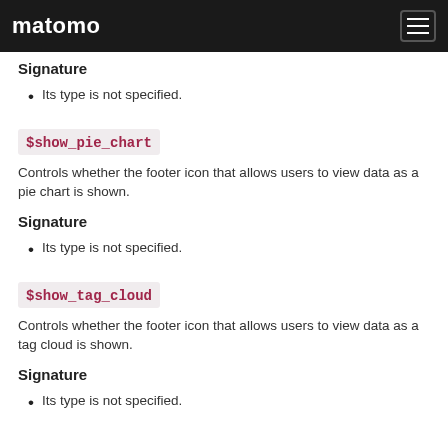matomo
Signature
Its type is not specified.
$show_pie_chart
Controls whether the footer icon that allows users to view data as a pie chart is shown.
Signature
Its type is not specified.
$show_tag_cloud
Controls whether the footer icon that allows users to view data as a tag cloud is shown.
Signature
Its type is not specified.